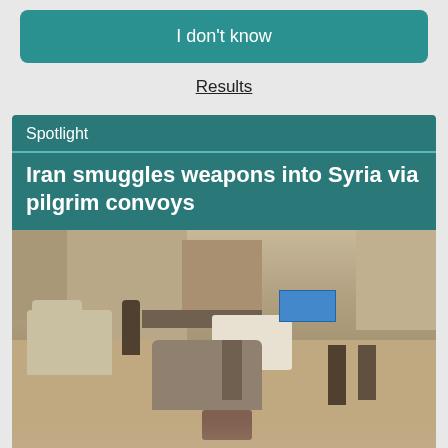I don't know
Results
Spotlight
Iran smuggles weapons into Syria via pilgrim convoys
[Figure (photo): Street scene with military/armed personnel, vehicles including a jeep and trucks, in what appears to be a Middle Eastern town setting.]